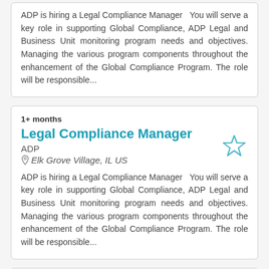ADP is hiring a Legal Compliance Manager  You will serve a key role in supporting Global Compliance, ADP Legal and Business Unit monitoring program needs and objectives. Managing the various program components throughout the enhancement of the Global Compliance Program. The role will be responsible...
1+ months
Legal Compliance Manager
ADP
Elk Grove Village, IL US
ADP is hiring a Legal Compliance Manager  You will serve a key role in supporting Global Compliance, ADP Legal and Business Unit monitoring program needs and objectives. Managing the various program components throughout the enhancement of the Global Compliance Program. The role will be responsible...
1+ months